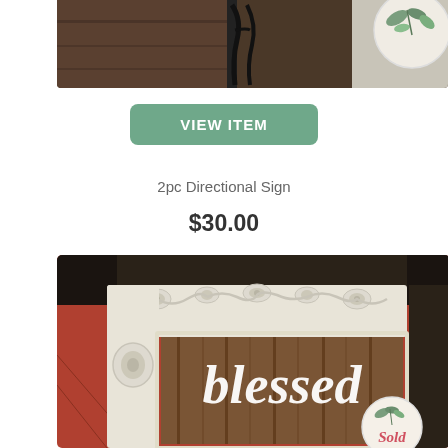[Figure (photo): Top portion of a product listing photo showing decorative items including a dark wood surface with a black metal stand and a white circular plate with botanical/eucalyptus design]
VIEW ITEM
2pc Directional Sign
$30.00
[Figure (photo): A decorative framed sign with an ornate white carved frame sitting on a terracotta tile floor. Inside the frame is a rustic wood plank background with the word 'blessed' written in white script lettering. A circular 'Sold' tag with eucalyptus leaves is visible in the bottom right corner.]